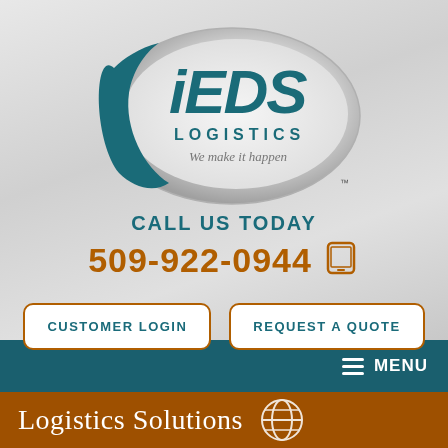[Figure (logo): iEDS Logistics logo — oval silver/teal ellipse with 'iEDS' in large teal italic bold text, 'LOGISTICS' in smaller teal spaced caps, 'We make it happen' in italic gray script, small TM mark, with a dark teal swoosh arc on the left]
CALL US TODAY
509-922-0944
CUSTOMER LOGIN
REQUEST A QUOTE
MENU
Logistics Solutions